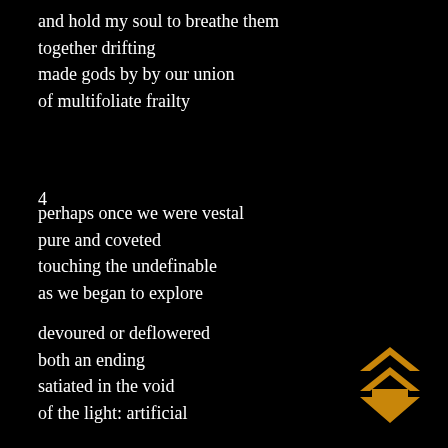and hold my soul to breathe them
together drifting
made gods by by our union
of multifoliate frailty
4
perhaps once we were vestal
pure and coveted
touching the undefinable
as we began to explore
devoured or deflowered
both an ending
satiated in the void
of the light: artificial
[Figure (illustration): An orange/amber upward-pointing arrow icon with double chevron above, used as a navigation symbol]